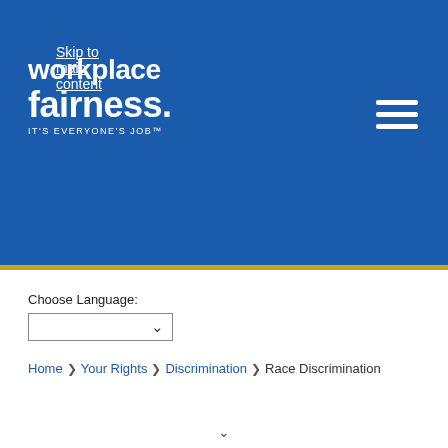Skip to main content
[Figure (logo): Workplace Fairness logo — white text on blue background reading 'workplace fairness IT'S EVERYONE'S JOB']
Choose Language:
Home > Your Rights > Discrimination > Race Discrimination